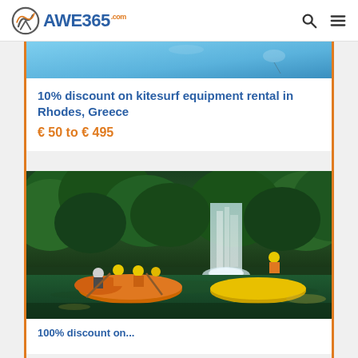AWE365.com
10% discount on kitesurf equipment rental in Rhodes, Greece
€ 50 to € 495
[Figure (photo): Rafting group on a river with a waterfall and lush green trees in the background]
100% discount on...